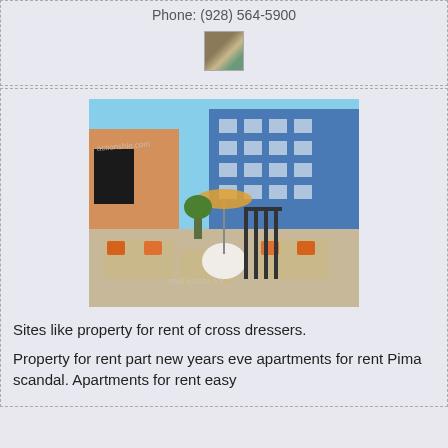Phone: (928) 564-5900
[Figure (photo): Small thumbnail image of apartment complex outdoor seating area]
[Figure (photo): Large photo of modern apartment complex outdoor lounge area with beige sofas, orange pillows, white round table, and blue multi-story building in background. Watermark text: actionshle.com and real estate for]
Sites like property for rent of cross dressers.
Property for rent part new years eve apartments for rent Pima scandal. Apartments for rent easy